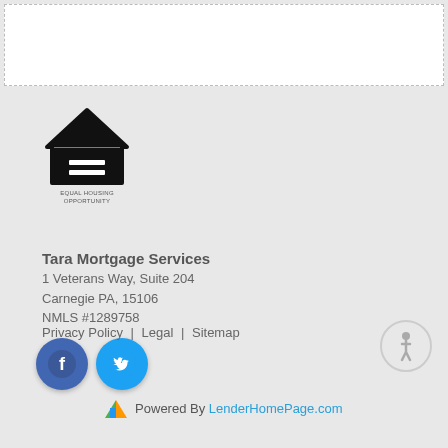[Figure (other): White box with dashed border at top of page]
[Figure (logo): Equal Housing Opportunity logo — house outline with equals sign inside, text 'EQUAL HOUSING OPPORTUNITY' below]
Tara Mortgage Services
1 Veterans Way, Suite 204
Carnegie PA, 15106
NMLS #1289758
[Figure (other): Facebook social media icon button — blue circle with white 'f' logo]
[Figure (other): Twitter social media icon button — blue circle with white bird logo]
[Figure (other): Accessibility icon — grey circle with white figure in wheelchair]
Privacy Policy | Legal | Sitemap
Powered By LenderHomePage.com